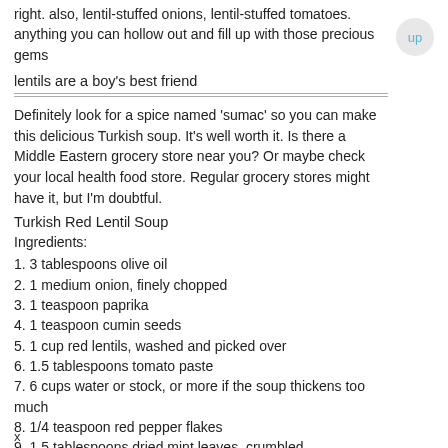right. also, lentil-stuffed onions, lentil-stuffed tomatoes. anything you can hollow out and fill up with those precious gems
lentils are a boy's best friend
Definitely look for a spice named 'sumac' so you can make this delicious Turkish soup. It's well worth it. Is there a Middle Eastern grocery store near you? Or maybe check your local health food store. Regular grocery stores might have it, but I'm doubtful.
Turkish Red Lentil Soup
Ingredients:
1. 3 tablespoons olive oil
2. 1 medium onion, finely chopped
3. 1 teaspoon paprika
4. 1 teaspoon cumin seeds
5. 1 cup red lentils, washed and picked over
6. 1.5 tablespoons tomato paste
7. 6 cups water or stock, or more if the soup thickens too much
8. 1/4 teaspoon red pepper flakes
9. 1.5 tablespoons dried mint leaves, crumbled
x